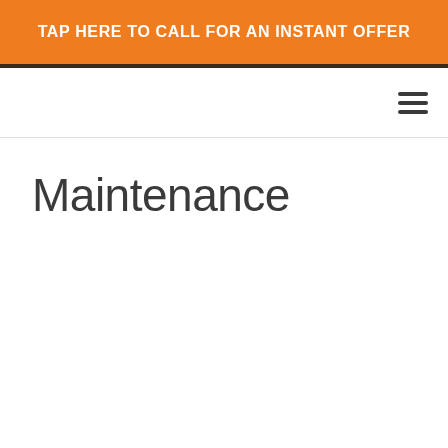TAP HERE TO CALL FOR AN INSTANT OFFER
Maintenance